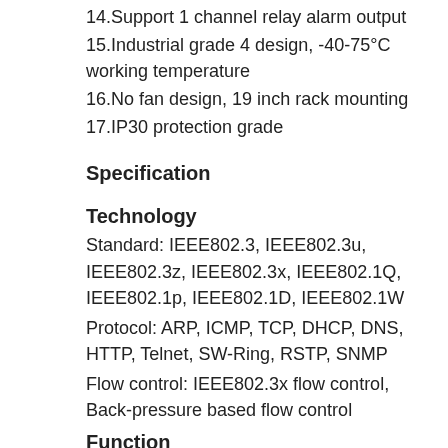14.Support 1 channel relay alarm output
15.Industrial grade 4 design, -40-75°C working temperature
16.No fan design, 19 inch rack mounting
17.IP30 protection grade
Specification
Technology
Standard: IEEE802.3, IEEE802.3u, IEEE802.3z, IEEE802.3x, IEEE802.1Q, IEEE802.1p, IEEE802.1D, IEEE802.1W
Protocol: ARP, ICMP, TCP, DHCP, DNS, HTTP, Telnet, SW-Ring, RSTP, SNMP
Flow control: IEEE802.3x flow control, Back-pressure based flow control
Function
Switch function: SW-Ring, QOS, 802.1QVLAN, RSTP,